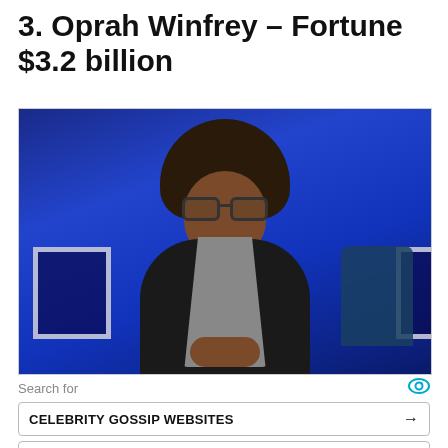3. Oprah Winfrey – Fortune $3.2 billion
[Figure (photo): Photo of Oprah Winfrey seated against a blue illuminated background, wearing glasses, a black outfit with a grey sequined vest, hands clasped in her lap. Blue rectangular screen/stage elements visible in background.]
Search for
CELEBRITY GOSSIP WEBSITES →
RICHEST ACTOR OF 2022 →